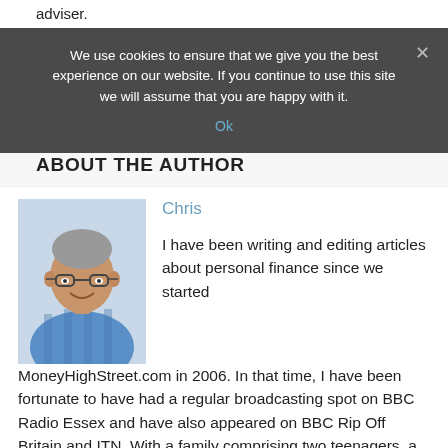adviser.
We use cookies to ensure that we give you the best experience on our website. If you continue to use this site we will assume that you are happy with it.
ABOUT THE AUTHOR
[Figure (photo): Portrait photo of Chris, a middle-aged man with glasses wearing a blue checked shirt, smiling]
Chris
I have been writing and editing articles about personal finance since we started MoneyHighStreet.com in 2006. In that time, I have been fortunate to have had a regular broadcasting spot on BBC Radio Essex and have also appeared on BBC Rip Off Britain and ITN. With a family comprising two teenagers, a wife and a bouncy black labrador, getting the finances right is clearly important. It's a privilege to share our tips and experiences to help you